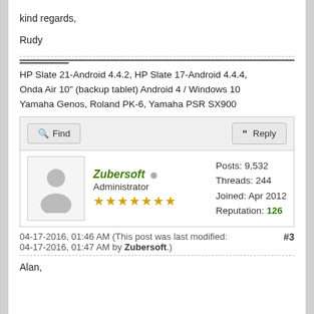kind regards,
Rudy
HP Slate 21-Android 4.4.2, HP Slate 17-Android 4.4.4,
Onda Air 10" (backup tablet) Android 4 / Windows 10
Yamaha Genos, Roland PK-6, Yamaha PSR SX900
Find   Reply
Zubersoft  Administrator  ★★★★★★★  Posts: 9,532  Threads: 244  Joined: Apr 2012  Reputation: 126
04-17-2016, 01:46 AM (This post was last modified: 04-17-2016, 01:47 AM by Zubersoft.)  #3
Alan,